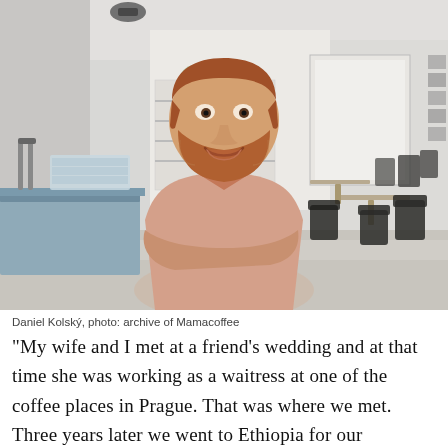[Figure (photo): A smiling man with a reddish beard, wearing a light pink shirt with arms crossed, standing inside a bright modern cafe/restaurant space. Bar counter with stacked glassware on the left, tables and dark chairs visible in the background on the right, large windows and white walls.]
Daniel Kolský, photo: archive of Mamacoffee
"My wife and I met at a friend's wedding and at that time she was working as a waitress at one of the coffee places in Prague. That was where we met. Three years later we went to Ethiopia for our honeymoon. And Ethiopia is the home of coffee. And it was there that we decided that this is really something that we would like